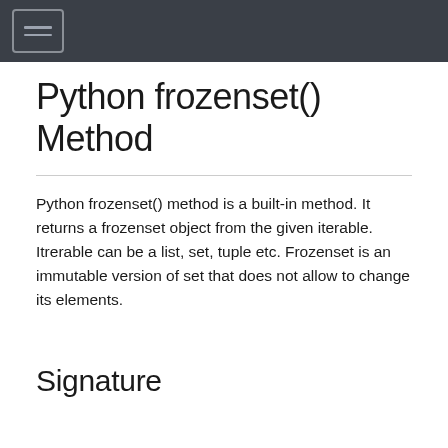Python frozenset() Method
Python frozenset() method is a built-in method. It returns a frozenset object from the given iterable. Itrerable can be a list, set, tuple etc. Frozenset is an immutable version of set that does not allow to change its elements.
Signature